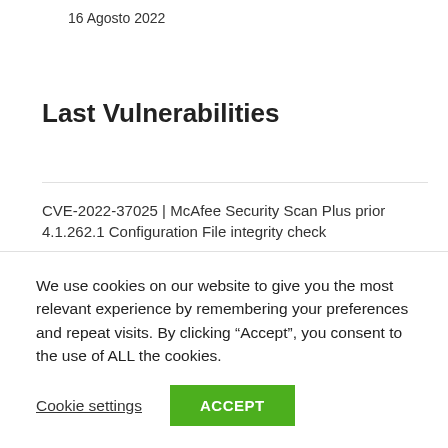16 Agosto 2022
Last Vulnerabilities
CVE-2022-37025 | McAfee Security Scan Plus prior 4.1.262.1 Configuration File integrity check
18 Agosto 2022
CVE-2022-36022 | Hyperledger Fabric 2.16 Gateway Client...
We use cookies on our website to give you the most relevant experience by remembering your preferences and repeat visits. By clicking “Accept”, you consent to the use of ALL the cookies.
Cookie settings
ACCEPT